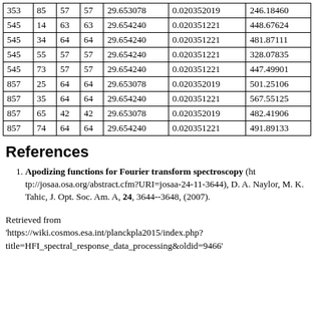| 353 | 85 | 57 | 57 | 29.653078 | 0.020352019 | 246.18460 |
| 545 | 14 | 63 | 63 | 29.654240 | 0.020351221 | 448.67624 |
| 545 | 34 | 64 | 64 | 29.654240 | 0.020351221 | 481.87111 |
| 545 | 55 | 57 | 57 | 29.654240 | 0.020351221 | 328.07835 |
| 545 | 73 | 57 | 57 | 29.654240 | 0.020351221 | 447.49901 |
| 857 | 25 | 64 | 64 | 29.653078 | 0.020352019 | 501.25106 |
| 857 | 35 | 64 | 64 | 29.654240 | 0.020351221 | 567.55125 |
| 857 | 65 | 42 | 42 | 29.653078 | 0.020352019 | 482.41906 |
| 857 | 74 | 64 | 64 | 29.654240 | 0.020351221 | 491.89133 |
References
Apodizing functions for Fourier transform spectroscopy (http://josaa.osa.org/abstract.cfm?URI=josaa-24-11-3644), D. A. Naylor, M. K. Tahic, J. Opt. Soc. Am. A, 24, 3644--3648, (2007).
Retrieved from 'https://wiki.cosmos.esa.int/planckpla2015/index.php?title=HFI_spectral_response_data_processing&oldid=9466'